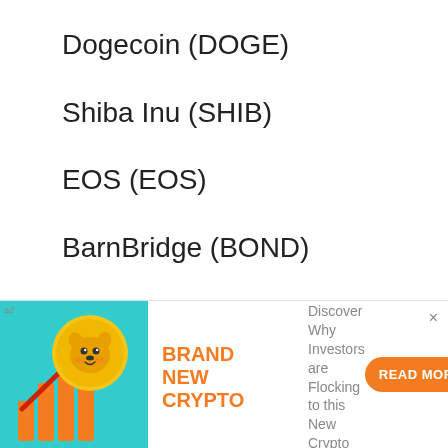Dogecoin (DOGE)
Shiba Inu (SHIB)
EOS (EOS)
BarnBridge (BOND)
[Figure (infographic): Ad banner showing a cartoon Shiba Inu dog coin with a rising bar chart and upward arrow on a teal background. Orange text reads BRAND NEW CRYPTO. Gray text: Discover Why Investors are Flocking to this New Crypto. Orange READ MORE button.]